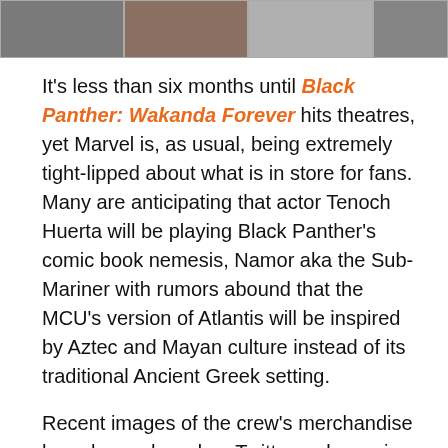[Figure (photo): A horizontal strip of four thumbnail images, partially visible, appearing to show movie/entertainment scenes]
It's less than six months until Black Panther: Wakanda Forever hits theatres, yet Marvel is, as usual, being extremely tight-lipped about what is in store for fans. Many are anticipating that actor Tenoch Huerta will be playing Black Panther's comic book nemesis, Namor aka the Sub-Mariner with rumors abound that the MCU's version of Atlantis will be inspired by Aztec and Mayan culture instead of its traditional Ancient Greek setting.
Recent images of the crew's merchandise have been shared on Twitter, only serving to churn up the rumor mill, as they show a hat with stitching depicting Tenevollotl, the Aztec Jaguar God.